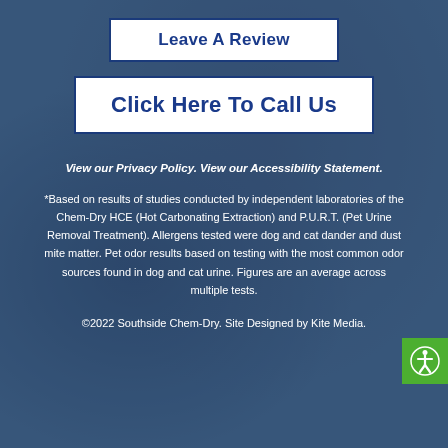Leave A Review
Click Here To Call Us
View our Privacy Policy. View our Accessibility Statement.
*Based on results of studies conducted by independent laboratories of the Chem-Dry HCE (Hot Carbonating Extraction) and P.U.R.T. (Pet Urine Removal Treatment). Allergens tested were dog and cat dander and dust mite matter. Pet odor results based on testing with the most common odor sources found in dog and cat urine. Figures are an average across multiple tests.
©2022 Southside Chem-Dry. Site Designed by Kite Media.